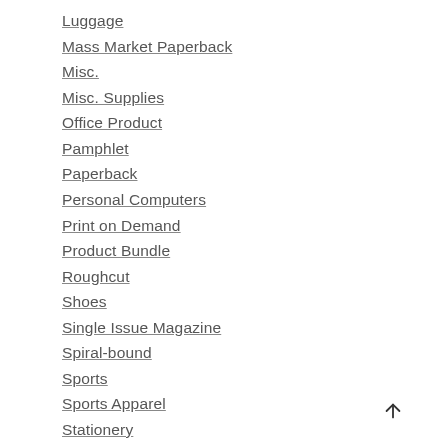Luggage
Mass Market Paperback
Misc.
Misc. Supplies
Office Product
Pamphlet
Paperback
Personal Computers
Print on Demand
Product Bundle
Roughcut
Shoes
Single Issue Magazine
Spiral-bound
Sports
Sports Apparel
Stationery
Tools & Hardware